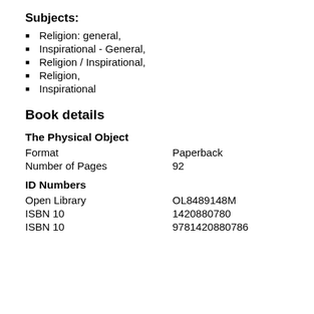Subjects:
Religion: general,
Inspirational - General,
Religion / Inspirational,
Religion,
Inspirational
Book details
The Physical Object
| Format | Paperback |
| Number of Pages | 92 |
ID Numbers
| Open Library | OL8489148M |
| ISBN 10 | 1420880780 |
| ISBN 10 | 9781420880786 |